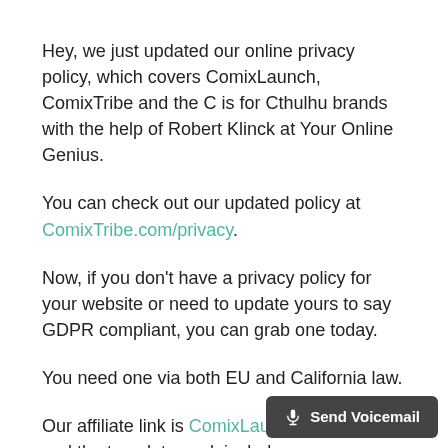Hey, we just updated our online privacy policy, which covers ComixLaunch, ComixTribe and the C is for Cthulhu brands with the help of Robert Klinck at Your Online Genius.
You can check out our updated policy at ComixTribe.com/privacy.
Now, if you don't have a privacy policy for your website or need to update yours to say GDPR compliant, you can grab one today.
You need one via both EU and California law.
Our affiliate link is ComixLaunch.com/legal and the template pack includes: